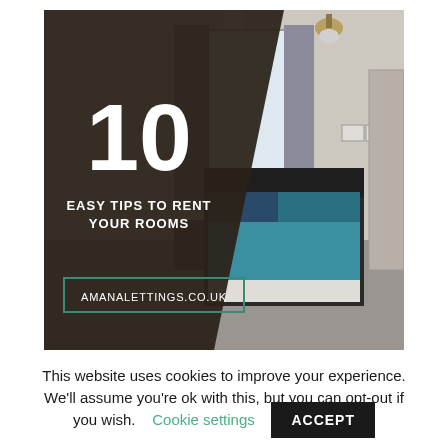[Figure (illustration): Cover image for '10 Easy Tips to Rent Your Rooms' by Amana Lettings. Left side: dark brown triangle overlaid on top of a bedroom photo, with large white '10' and text 'EASY TIPS TO RENT YOUR ROOMS' in white, and a teal-bordered box with 'AMANALETTINGS.CO.UK'. Right side: photo of a modern bedroom with a bed with blue bedding, grey curtains, pendant light, and grey carpet.]
This website uses cookies to improve your experience. We'll assume you're ok with this, but you can opt-out if you wish. Cookie settings ACCEPT